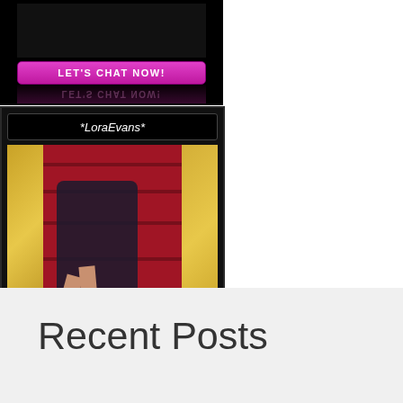[Figure (screenshot): Chat widget with black background showing a 'LET'S CHAT NOW!' pink button and its reflection, top portion of a two-part widget]
[Figure (screenshot): Chat widget card for *LoraEvans* showing profile photo of woman on red staircase, pink 'LET'S CHAT NOW!' button, on black background]
Recent Posts